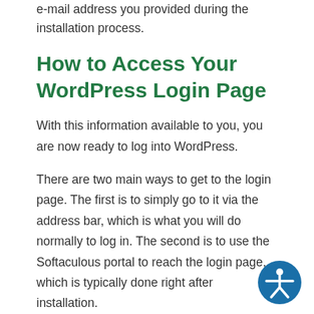e-mail address you provided during the installation process.
How to Access Your WordPress Login Page
With this information available to you, you are now ready to log into WordPress.
There are two main ways to get to the login page. The first is to simply go to it via the address bar, which is what you will do normally to log in. The second is to use the Softaculous portal to reach the login page, which is typically done right after installation.
Thus, I will demonstrate both ways to do it.
[Figure (illustration): Blue circular accessibility icon showing a person figure with arms outstretched]